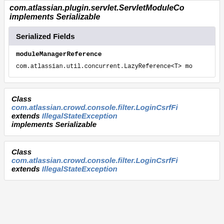com.atlassian.plugin.servlet.ServletModuleCo implements Serializable
Serialized Fields
moduleManagerReference
com.atlassian.util.concurrent.LazyReference<T> mo
Class com.atlassian.crowd.console.filter.LoginCsrfFi extends IllegalStateException implements Serializable
Class com.atlassian.crowd.console.filter.LoginCsrfFi extends IllegalStateException